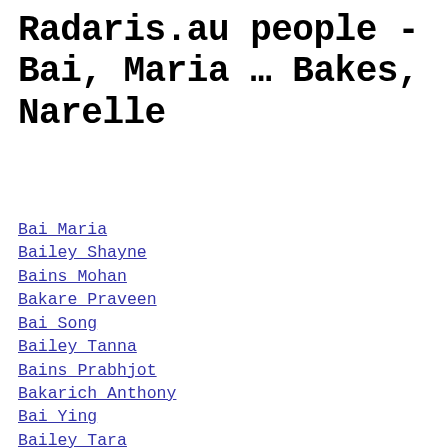Radaris.au people - Bai, Maria … Bakes, Narelle
Bai Maria
Bailey Shayne
Bains Mohan
Bakare Praveen
Bai Song
Bailey Tanna
Bains Prabhjot
Bakarich Anthony
Bai Ying
Bailey Tara
Bainy Joanne
Bakaric Nikki
Baica Catherine
Bailey Zoe
Bairagi Ranajit
Bakasetas Dora
Baiden Andrew